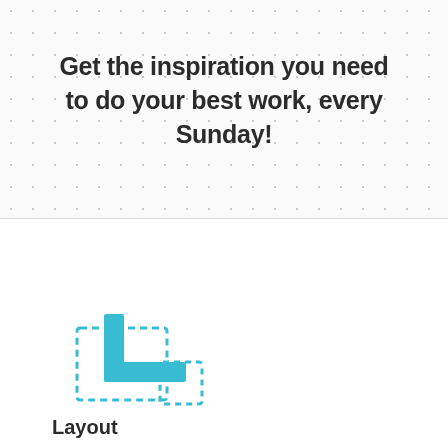Get the inspiration you need to do your best work, every Sunday!
[Figure (illustration): A teal/cyan colored icon depicting stacked or layered layout panels, suggesting a UI layout or copy/paste icon]
Layout